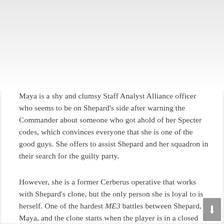[Figure (photo): Top portion of image area, appears to be a faded or greyed out screenshot from a video game]
Maya is a shy and clumsy Staff Analyst Alliance officer who seems to be on Shepard's side after warning the Commander about someone who got ahold of her Specter codes, which convinces everyone that she is one of the good guys. She offers to assist Shepard and her squadron in their search for the guilty party.
However, she is a former Cerberus operative that works with Shepard's clone, but the only person she is loyal to is herself. One of the hardest ME3 battles between Shepard, Maya, and the clone starts when the player is in a closed space and can be easily cornered, not to mention that the clone has the same